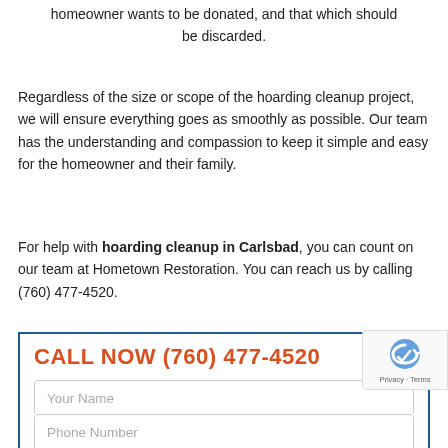homeowner wants to be donated, and that which should be discarded.
Regardless of the size or scope of the hoarding cleanup project, we will ensure everything goes as smoothly as possible. Our team has the understanding and compassion to keep it simple and easy for the homeowner and their family.
For help with hoarding cleanup in Carlsbad, you can count on our team at Hometown Restoration. You can reach us by calling (760) 477-4520.
CALL NOW (760) 477-4520
Your Name
Phone Number